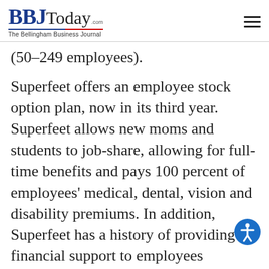BBJToday.com — The Bellingham Business Journal
(50–249 employees).
Superfeet offers an employee stock option plan, now in its third year. Superfeet allows new moms and students to job-share, allowing for full-time benefits and pays 100 percent of employees' medical, dental, vision and disability premiums. In addition, Superfeet has a history of providing financial support to employees enduring health-related or family crises.
The complete rankings will be published